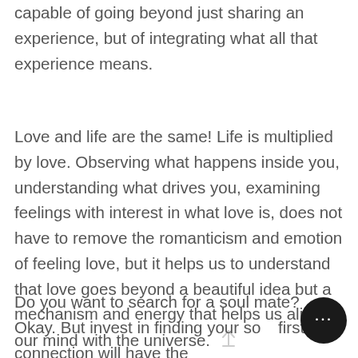capable of going beyond just sharing an experience, but of integrating what all that experience means.
Love and life are the same! Life is multiplied by love. Observing what happens inside you, understanding what drives you, examining feelings with interest in what love is, does not have to remove the romanticism and emotion of feeling love, but it helps us to understand that love goes beyond a beautiful idea but a mechanism and energy that helps us align our mind with the universe.
Do you want to search for a soul mate? Okay. But invest in finding your so... first, that connection will have the